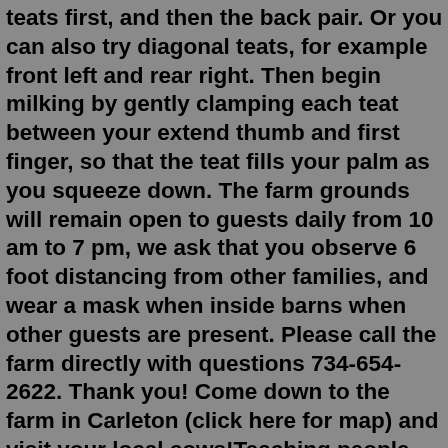teats first, and then the back pair. Or you can also try diagonal teats, for example front left and rear right. Then begin milking by gently clamping each teat between your extend thumb and first finger, so that the teat fills your palm as you squeeze down. The farm grounds will remain open to guests daily from 10 am to 7 pm, we ask that you observe 6 foot distancing from other families, and wear a mask when inside barns when other guests are present. Please call the farm directly with questions 734-654-2622. Thank you! Come down to the farm in Carleton (click here for map) and visit your local cows!Teaching people how to take care of their family cow is so rewarding for us. We offer workshops on different levels to give training and guidance for people and their dairy cow. See our workshop page . Any questions please call us at 575-586-1176, we do not get on the computer very often, so please call.milking definition: 1. present participle of milk 2. to get milk from an animal: 3. to get as much money or…. Learn more. Milking a cow